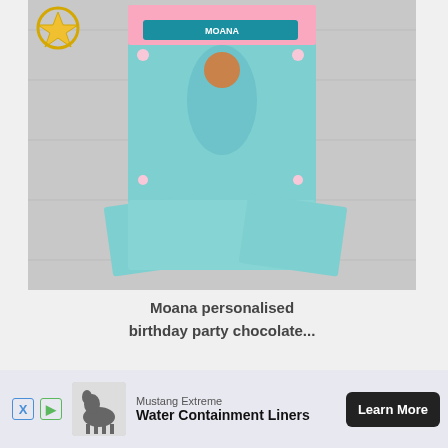[Figure (photo): Moana themed personalised birthday party chocolate bar wrappers displayed on a wooden background with teal and floral design]
Moana personalised birthday party chocolate...
VIEW PRODUCTS
The term 'Etsy' is a trademark of Etsy, Inc. This application uses the Etsy API but is not endorsed or certified by Etsy, Inc.
[Figure (infographic): Mustang Extreme advertisement banner with horse logo, Water Containment Liners text and Learn More button]